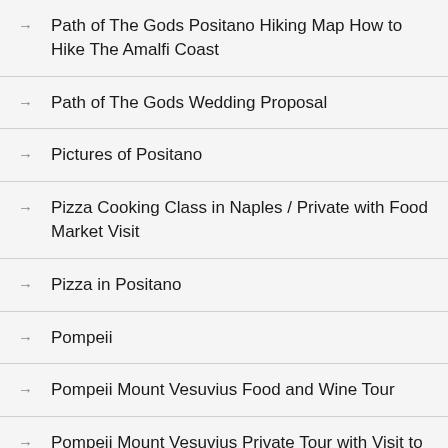Path of The Gods Positano Hiking Map How to Hike The Amalfi Coast
Path of The Gods Wedding Proposal
Pictures of Positano
Pizza Cooking Class in Naples / Private with Food Market Visit
Pizza in Positano
Pompeii
Pompeii Mount Vesuvius Food and Wine Tour
Pompeii Mount Vesuvius Private Tour with Visit to Vineyards Wine Tasting Lunch